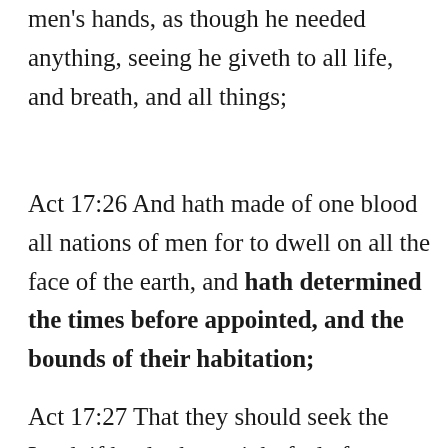men's hands, as though he needed anything, seeing he giveth to all life, and breath, and all things;
Act 17:26 And hath made of one blood all nations of men for to dwell on all the face of the earth, and hath determined the times before appointed, and the bounds of their habitation;
Act 17:27 That they should seek the Lord, if haply they might feel after